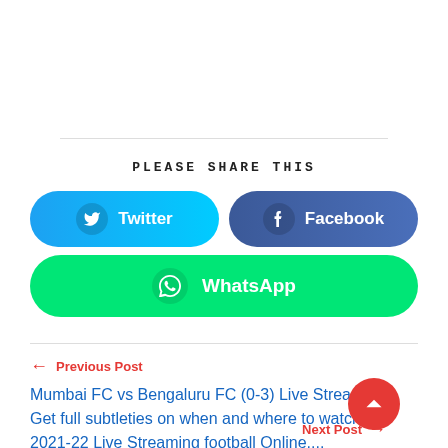PLEASE SHARE THIS
[Figure (infographic): Social share buttons: Twitter (blue gradient), Facebook (dark blue gradient), WhatsApp (green)]
← Previous Post
Mumbai FC vs Bengaluru FC (0-3) Live Streaming: Get full subtleties on when and where to watch ISL 2021-22 Live Streaming football Online....
Next Post →